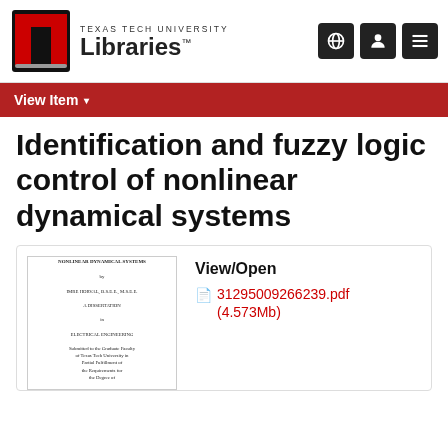[Figure (logo): Texas Tech University Libraries logo with red double-T emblem and navigation icons]
View Item ▾
Identification and fuzzy logic control of nonlinear dynamical systems
[Figure (screenshot): Thumbnail preview of dissertation title page]
View/Open
31295009266239.pdf (4.573Mb)